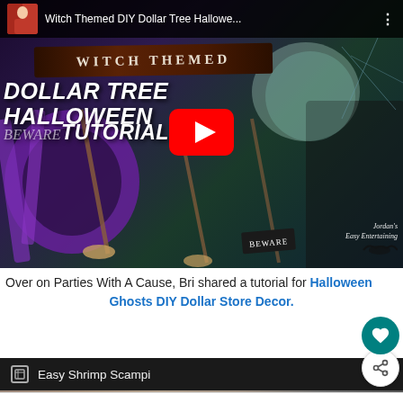[Figure (screenshot): YouTube video thumbnail for 'Witch Themed DIY Dollar Tree Hallowe...' showing a witch-themed Halloween wreath tutorial with purple mesh, brooms, and a woman in witch costume. Red YouTube play button overlay.]
Over on Parties With A Cause, Bri shared a tutorial for Halloween Ghosts DIY Dollar Store Decor.
[Figure (screenshot): Dark navigation bar with pencil/edit icon and text 'Easy Shrimp Scampi']
[Figure (photo): Blurry food photo strip at bottom of page]
[Figure (screenshot): Advertisement bar: 'The Perfect Family Activity' for Topgolf with play icon and blue navigation arrow]